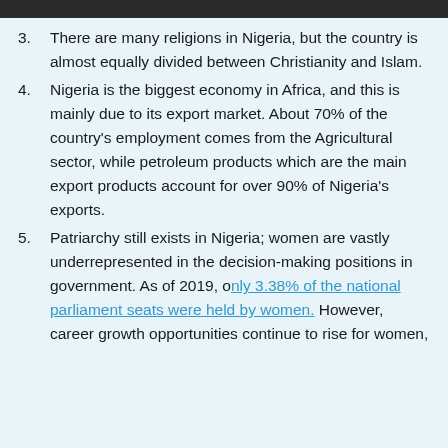[Figure (photo): Dark image bar at top of page]
3. There are many religions in Nigeria, but the country is almost equally divided between Christianity and Islam.
4. Nigeria is the biggest economy in Africa, and this is mainly due to its export market. About 70% of the country’s employment comes from the Agricultural sector, while petroleum products which are the main export products account for over 90% of Nigeria’s exports.
5. Patriarchy still exists in Nigeria; women are vastly underrepresented in the decision-making positions in government. As of 2019, only 3.38% of the national parliament seats were held by women. However, career growth opportunities continue to rise for women,